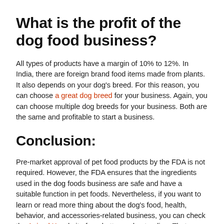What is the profit of the dog food business?
All types of products have a margin of 10% to 12%. In India, there are foreign brand food items made from plants. It also depends on your dog's breed. For this reason, you can choose a great dog breed for your business. Again, you can choose multiple dog breeds for your business. Both are the same and profitable to start a business.
Conclusion:
Pre-market approval of pet food products by the FDA is not required. However, the FDA ensures that the ingredients used in the dog foods business are safe and have a suitable function in pet foods. Nevertheless, if you want to learn or read more thing about the dog's food, health, behavior, and accessories-related business, you can check the Animal X website for a better understanding. That was our today's discussion. In future, we will back with new tips or topics.